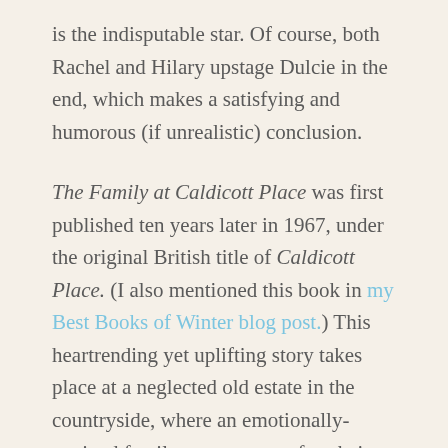is the indisputable star. Of course, both Rachel and Hilary upstage Dulcie in the end, which makes a satisfying and humorous (if unrealistic) conclusion.
The Family at Caldicott Place was first published ten years later in 1967, under the original British title of Caldicott Place. (I also mentioned this book in my Best Books of Winter blog post.) This heartrending yet uplifting story takes place at a neglected old estate in the countryside, where an emotionally-strained family goes to stay after their